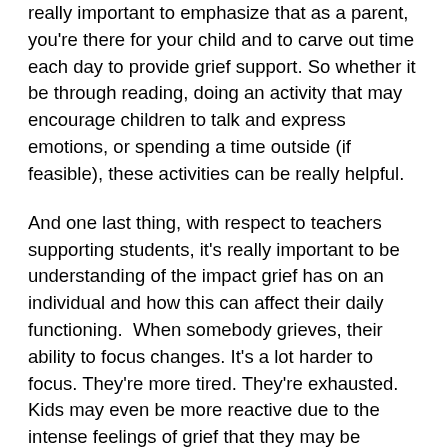really important to emphasize that as a parent, you're there for your child and to carve out time each day to provide grief support. So whether it be through reading, doing an activity that may encourage children to talk and express emotions, or spending a time outside (if feasible), these activities can be really helpful.
And one last thing, with respect to teachers supporting students, it's really important to be understanding of the impact grief has on an individual and how this can affect their daily functioning.  When somebody grieves, their ability to focus changes. It's a lot harder to focus. They're more tired. They're exhausted. Kids may even be more reactive due to the intense feelings of grief that they may be experiencing – and this may already be the case during the pandemic. So feelings of anxiety and sadness may be even more intense than they may have otherwise. So, if teachers are providing remote instruction, for example, I would recommend that they be patient and flexible with the students in terms of completing assignments. I would also recommend that they reach out to students, let them know